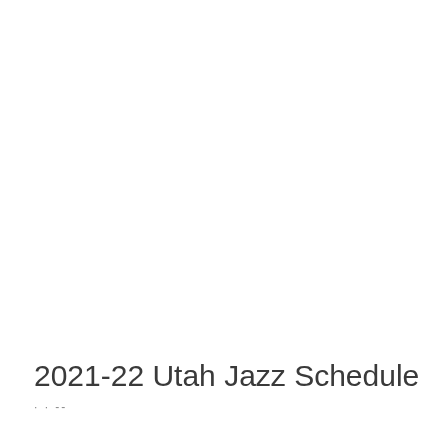2021-22 Utah Jazz Schedule
· · --